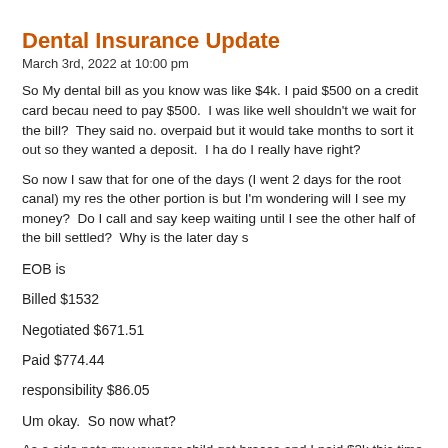Dental Insurance Update
March 3rd, 2022 at 10:00 pm
So My dental bill as you know was like $4k. I paid $500 on a credit card because need to pay $500.  I was like well shouldn't we wait for the bill?  They said no. overpaid but it would take months to sort it out so they wanted a deposit.  I ha do I really have right?
So now I saw that for one of the days (I went 2 days for the root canal) my res the other portion is but I'm wondering will I see my money?  Do I call and say keep waiting until I see the other half of the bill settled?  Why is the later day s
EOB is
Billed $1532
Negotiated $671.51
Paid $774.44
responsibility $86.05
Um okay.  So now what?
As a side note my younger child got braces and I paid $3k this time OOP bec